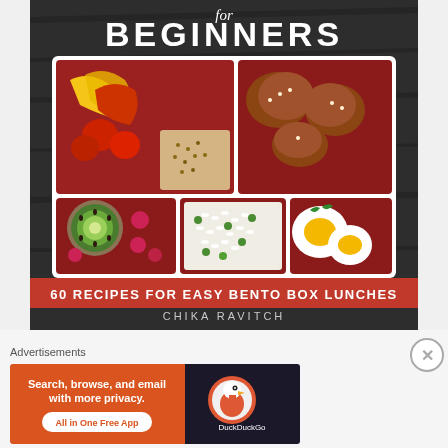[Figure (illustration): Book cover for 'Bento Box Lunches for Beginners' by Chika Ravitch. Dark textured background with a bento box containing colorful food: yellow and red peppers with strawberries, sesame seeds, teriyaki chicken; kiwi slices with raspberries; rice with peas; hard boiled eggs with herbs. Red banner reads '60 Recipes for Easy Bento Box Lunches'.]
Advertisements
[Figure (illustration): DuckDuckGo advertisement banner: orange-red left side reads 'Search, browse, and email with more privacy. All in One Free App'. Right dark side shows DuckDuckGo duck logo and text 'DuckDuckGo'.]